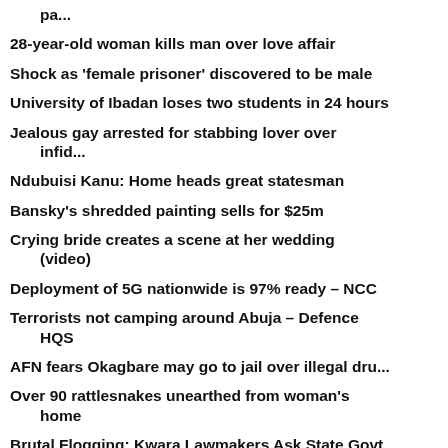pa...
28-year-old woman kills man over love affair
Shock as 'female prisoner' discovered to be male
University of Ibadan loses two students in 24 hours
Jealous gay arrested for stabbing lover over infid...
Ndubuisi Kanu: Home heads great statesman
Bansky's shredded painting sells for $25m
Crying bride creates a scene at her wedding (video)
Deployment of 5G nationwide is 97% ready – NCC
Terrorists not camping around Abuja – Defence HQS
AFN fears Okagbare may go to jail over illegal dru...
Over 90 rattlesnakes unearthed from woman's home
Brutal Flogging: Kwara Lawmakers Ask State Govt To...
BUSTED: Buhari Has Earmarked N450m For Rent At